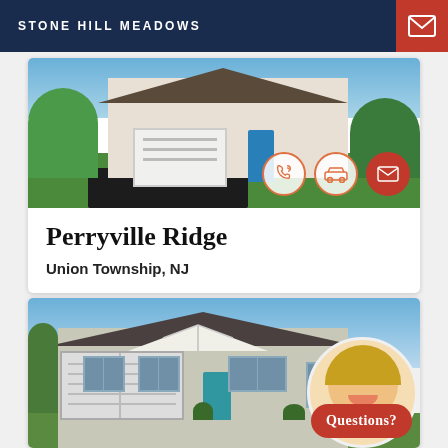STONE HILL MEADOWS
[Figure (photo): Exterior photo of a new construction home with white garage door, stone accents, and blue front door, with a black driveway and green lawn.]
Perryville Ridge
Union Township, NJ
[Figure (photo): Exterior photo of a two-story craftsman-style home with gray siding, white trim, two-car garage with white doors, blue front door, and blue sky background. Agent photo and 'Questions?' bubble visible in lower right.]